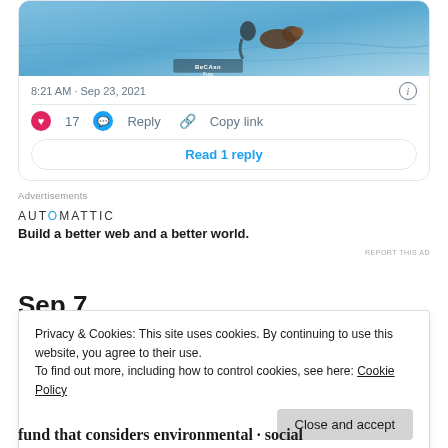[Figure (screenshot): Tweet card with a photo showing a swimming or water scene with a dog and person, timestamp 8:21 AM Sep 23 2021, 17 likes, Reply and Copy link actions, and a Read 1 reply button]
8:21 AM · Sep 23, 2021
17  Reply  Copy link
Read 1 reply
Advertisements
AUTOMATTIC
Build a better web and a better world.
REPORT THIS AD
Sep 7
Privacy & Cookies: This site uses cookies. By continuing to use this website, you agree to their use.
To find out more, including how to control cookies, see here: Cookie Policy
Close and accept
fund that considers environmental · social impact and holds 2.1% of total share count